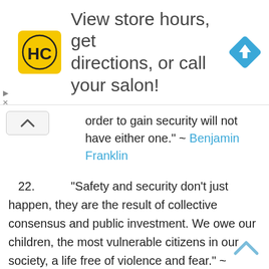[Figure (screenshot): Advertisement banner with HC (Hair Club) logo on yellow background, text 'View store hours, get directions, or call your salon!' and a blue navigation/directions diamond icon on the right.]
order to gain security will not have either one." ~ Benjamin Franklin
22. “Safety and security don’t just happen, they are the result of collective consensus and public investment. We owe our children, the most vulnerable citizens in our society, a life free of violence and fear.” ~ Nelson Mandela